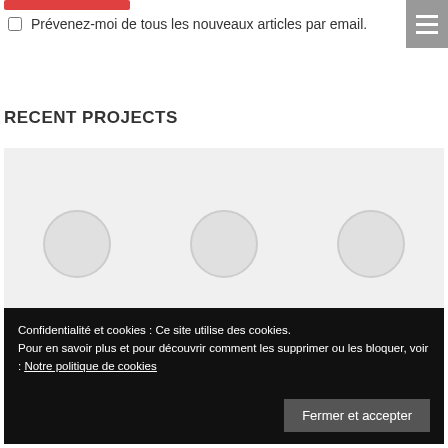[Figure (other): Red submit/action button at top of page]
Prévenez-moi de tous les nouveaux articles par email.
[Figure (other): Hamburger menu icon (three white lines on grey background) in top right corner]
RECENT PROJECTS
[Figure (other): Recent projects placeholder area with light grey background containing three circular placeholder images arranged horizontally]
Confidentialité et cookies : Ce site utilise des cookies.
Pour en savoir plus et pour découvrir comment les supprimer ou les bloquer, voir : Notre politique de cookies
[Figure (other): Fermer et accepter button in cookie banner]